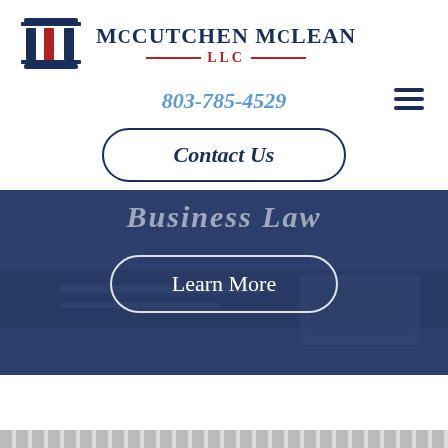[Figure (logo): McCutchen McLean LLC law firm logo with pillar/columns icon in navy blue and red, alongside firm name text]
803-785-4529
Contact Us
Business Law
Learn More
[Figure (photo): Dark blue-tinted background photo of documents and a tablet on a desk, used as hero section background]